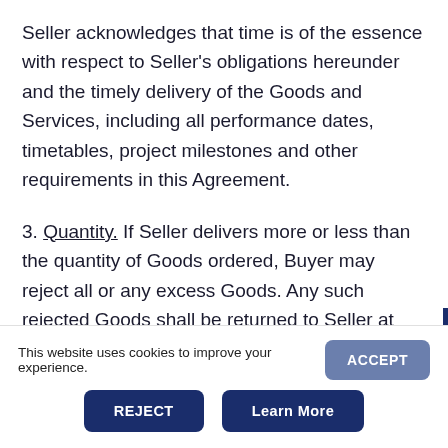Seller acknowledges that time is of the essence with respect to Seller's obligations hereunder and the timely delivery of the Goods and Services, including all performance dates, timetables, project milestones and other requirements in this Agreement.
3. Quantity. If Seller delivers more or less than the quantity of Goods ordered, Buyer may reject all or any excess Goods. Any such rejected Goods shall be returned to Seller at Seller's sole risk and expense. If
This website uses cookies to improve your experience.